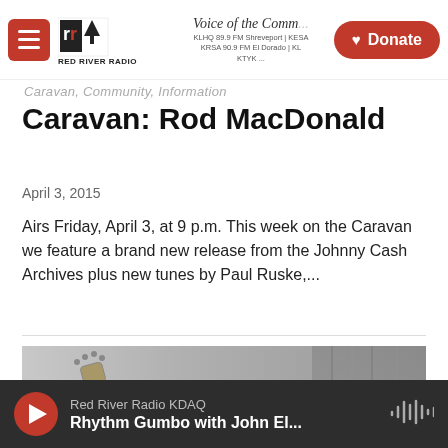Voice of the Community | Red River Radio | KLHQ 89.9 FM Shreveport | KESA | KRSA 90.9 FM El Dorado | KTYK | Donate
Caravan, Community, Information
Caravan: Rod MacDonald
April 3, 2015
Airs Friday, April 3, at 9 p.m. This week on the Caravan we feature a brand new release from the Johnny Cash Archives plus new tunes by Paul Ruske,...
[Figure (photo): Black and white photograph of a person playing an archtop acoustic guitar, seated, with a curtain in the background.]
Red River Radio KDAQ | Rhythm Gumbo with John El...